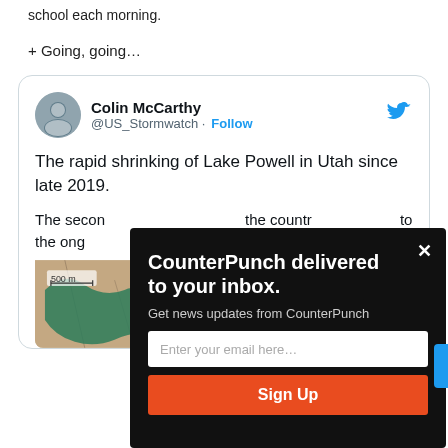school each morning.
+ Going, going…
[Figure (screenshot): Embedded tweet from Colin McCarthy (@US_Stormwatch) with Follow button and Twitter bird icon. Tweet text: 'The rapid shrinking of Lake Powell in Utah since late 2019.' Followed by partial text 'The secon... the countr... to the ong...' and a satellite image of Lake Powell showing green water in rocky terrain with a '500 m' scale indicator.]
[Figure (screenshot): CounterPunch newsletter popup overlay on black background with white bold text 'CounterPunch delivered to your inbox.', subtext 'Get news updates from CounterPunch', email input field placeholder 'Enter your email here...', and orange 'Sign Up' button. Close X in top right.]